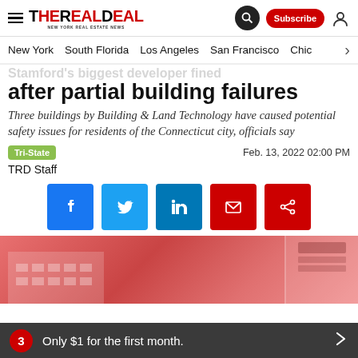The Real Deal — New York Real Estate News — Subscribe
New York | South Florida | Los Angeles | San Francisco | Chic
Stamford's biggest developer fined after partial building failures
Three buildings by Building & Land Technology have caused potential safety issues for residents of the Connecticut city, officials say
Tri-State   Feb. 13, 2022 02:00 PM
TRD Staff
[Figure (infographic): Social sharing buttons: Facebook, Twitter, LinkedIn, Email, Share]
[Figure (photo): Hero image with reddish-pink toned building photography]
3  Only $1 for the first month.